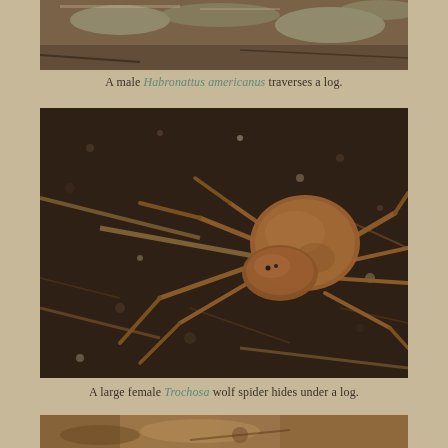[Figure (photo): Close-up photo of a spider on a log with lichen — partially cropped at top of page, showing only the upper portion]
A male Habronattus americanus traverses a log.
[Figure (photo): A large brown wolf spider (Trochosa) photographed on dark soil/earth with roots and twigs, spider is clearly visible in center-right of frame]
A large female Trochosa wolf spider hides under a log.
[Figure (photo): Partially visible photo at bottom of page — another spider or similar subject, cropped]